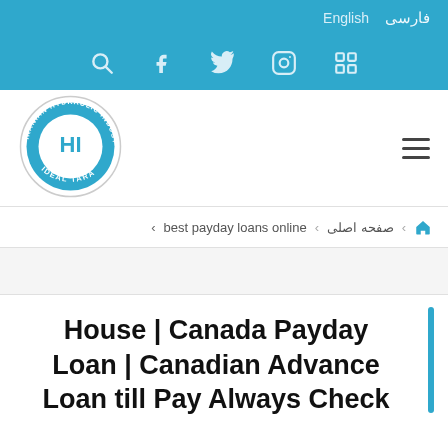English | فارسی
[Figure (screenshot): Navigation icon bar with search, Facebook, Twitter, Instagram, and another social icon on blue background]
[Figure (logo): Iranian Hydraulic Industries Ideal Tara circular logo in blue and white]
best payday loans online < صفحه اصلی (home breadcrumb)
House | Canada Payday Loan | Canadian Advance Loan till Pay Always Check